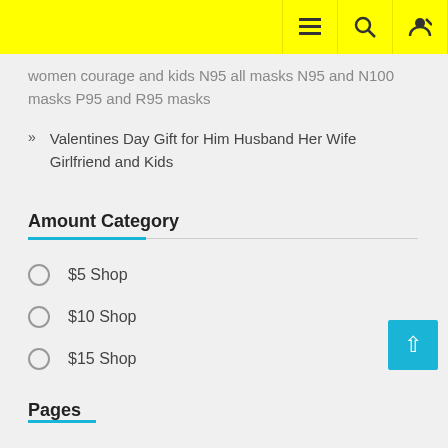navigation header with menu, search, and user icons
women courage and kids N95 all masks N95 and N100 masks P95 and R95 masks
Valentines Day Gift for Him Husband Her Wife Girlfriend and Kids
Amount Category
$5 Shop
$10 Shop
$15 Shop
Pages